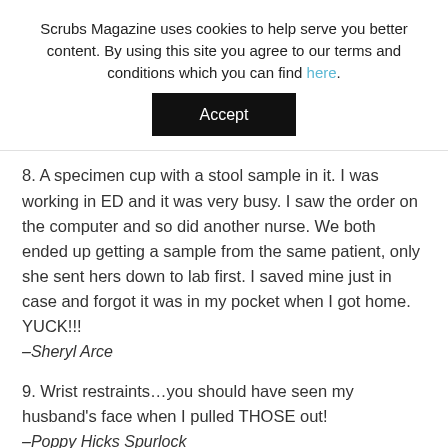Scrubs Magazine uses cookies to help serve you better content. By using this site you agree to our terms and conditions which you can find here.
Accept
8. A specimen cup with a stool sample in it. I was working in ED and it was very busy. I saw the order on the computer and so did another nurse. We both ended up getting a sample from the same patient, only she sent hers down to lab first. I saved mine just in case and forgot it was in my pocket when I got home. YUCK!!! –Sheryl Arce
9. Wrist restraints…you should have seen my husband's face when I pulled THOSE out! –Poppy Hicks Spurlock